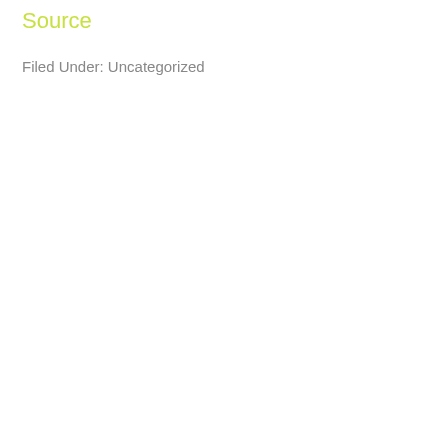Source
Filed Under: Uncategorized